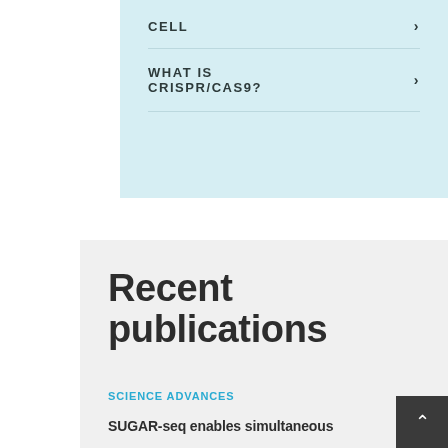CELL >
WHAT IS CRISPR/CAS9? >
Recent publications
SCIENCE ADVANCES
SUGAR-seq enables simultaneous